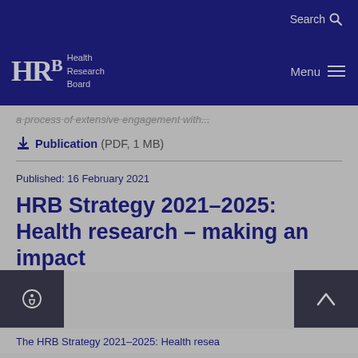Search
[Figure (logo): Health Research Board (HRB) logo with text 'Health Research Board' and Menu navigation icon on dark blue background]
a process of extensive engagement with...
Publication (PDF, 1 MB)
Published: 16 February 2021
HRB Strategy 2021-2025: Health research – making an impact
The HRB Strategy 2021-2025: Health resea